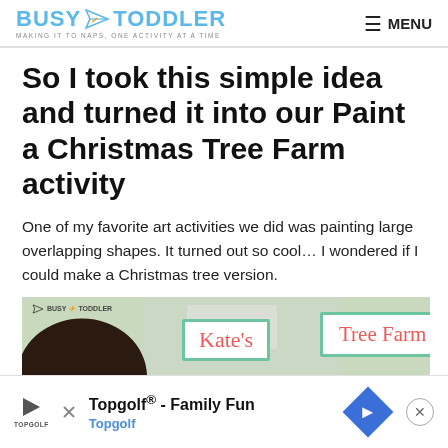BUSY TODDLER — MAKING IT TO NAPS, ONE ACTIVITY AT A TIME | MENU
So I took this simple idea and turned it into our Paint a Christmas Tree Farm activity
One of my favorite art activities we did was painting large overlapping shapes. It turned out so cool… I wondered if I could make a Christmas tree version.
[Figure (photo): Photo showing a child (seen from behind) in front of a green painted background with two white-bordered signs reading 'Kate's' and 'Tree Farm' in red cursive lettering. A 'Busy Toddler' watermark is visible in the top left.]
Topgolf® - Family Fun Topgolf